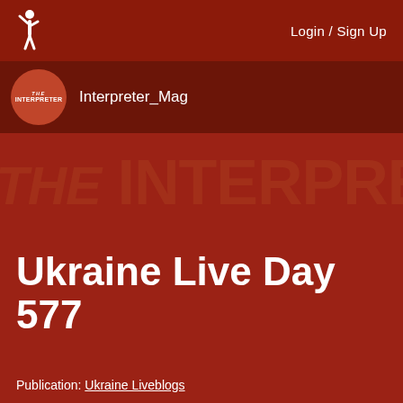Login / Sign Up
[Figure (logo): The Interpreter magazine logo - white silhouette figure on dark red background, top navigation bar]
Interpreter_Mag
Ukraine Live Day 577
Publication: Ukraine Liveblogs